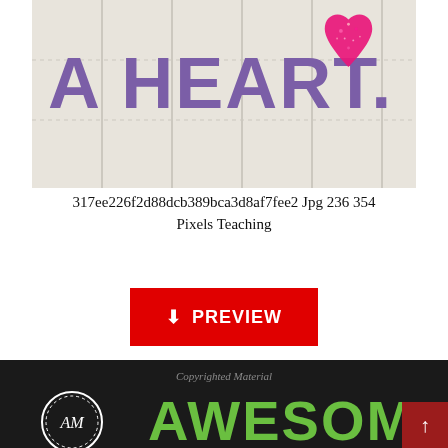[Figure (illustration): Partial view of a decorative wooden fence background with large purple text reading 'A HEART.' and a pink glittery heart graphic on the right side]
317ee226f2d88dcb389bca3d8af7fee2 Jpg 236 354 Pixels Teaching
[Figure (other): Red rectangular PREVIEW button with a download icon and white text 'PREVIEW']
[Figure (illustration): Dark chalkboard-style image showing 'Copyrighted Material' watermark text, a circular logo with 'AM' monogram, and large green bold text 'AWESOME' partially visible, with a dark red scroll-to-top arrow button in the bottom right corner]